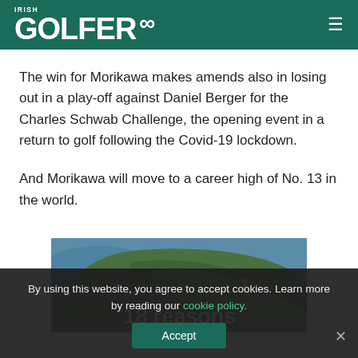IRISH GOLFER
The win for Morikawa makes amends also in losing out in a play-off against Daniel Berger for the Charles Schwab Challenge, the opening event in a return to golf following the Covid-19 lockdown.
And Morikawa will move to a career high of No. 13 in the world.
[Figure (photo): Aerial photo of an Irish golf course on a coastal cliff with green fields and sea, with white text overlay reading '18 reasons']
By using this website, you agree to accept cookies. Learn more by reading our cookie policy.